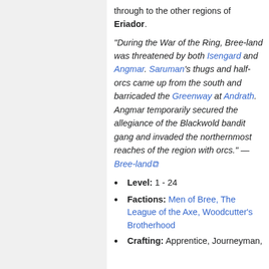through to the other regions of Eriador.
"During the War of the Ring, Bree-land was threatened by both Isengard and Angmar. Saruman's thugs and half-orcs came up from the south and barricaded the Greenway at Andrath. Angmar temporarily secured the allegiance of the Blackwold bandit gang and invaded the northernmost reaches of the region with orcs." — Bree-land
Level: 1 - 24
Factions: Men of Bree, The League of the Axe, Woodcutter's Brotherhood
Crafting: Apprentice, Journeyman,